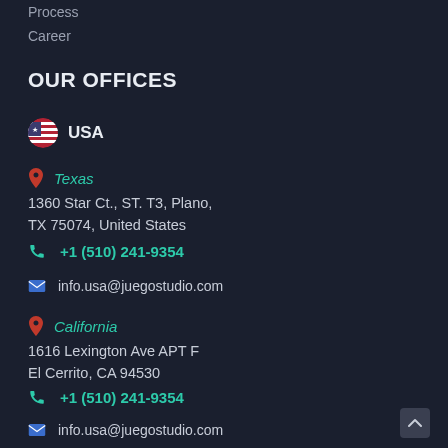Process
Career
OUR OFFICES
🇺🇸 USA
Texas
1360 Star Ct., ST. T3, Plano, TX 75074, United States
+1 (510) 241-9354
info.usa@juegostudio.com
California
1616 Lexington Ave APT F
El Cerrito, CA 94530
+1 (510) 241-9354
info.usa@juegostudio.com